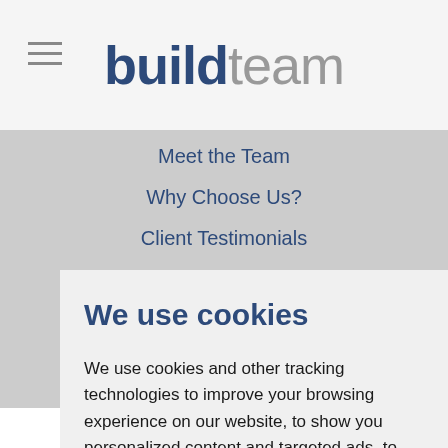buildteam
Meet the Team
Why Choose Us?
Client Testimonials
Areas We Cover
Open House
Join our Team
We use cookies
We use cookies and other tracking technologies to improve your browsing experience on our website, to show you personalized content and targeted ads, to